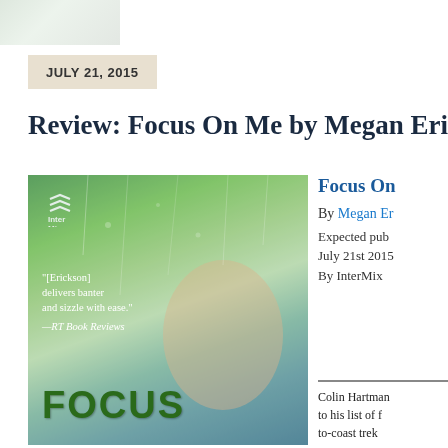[Figure (photo): Top corner decorative image with green/grey gradient]
JULY 21, 2015
Review: Focus On Me by Megan Eri
[Figure (photo): Book cover of 'Focus On Me' by Megan Erickson featuring a woman's face through rain-streaked glass with green foliage background. InterMix logo in top left. Quote: "[Erickson] delivers banter and sizzle with ease." —RT Book Reviews. Large green text FOCUS at the bottom.]
Focus On
By Megan Er
Expected pub
July 21st 2015
By InterMix
Colin Hartman
to his list of f
to-coast trek